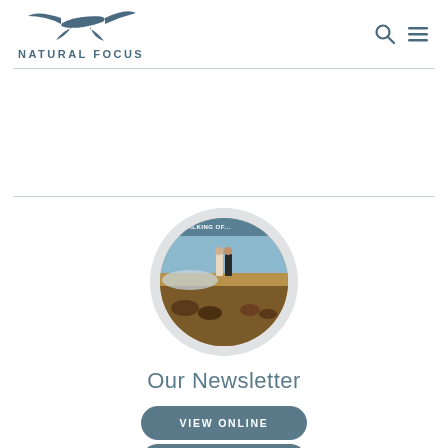[Figure (logo): Natural Focus logo with bird silhouette and text NATURAL FOCUS in steel blue]
[Figure (photo): Circular cropped photo showing two people standing in a scenic outdoor landscape with animals in the foreground, titled THE TALKING OF...]
Our Newsletter
VIEW ONLINE